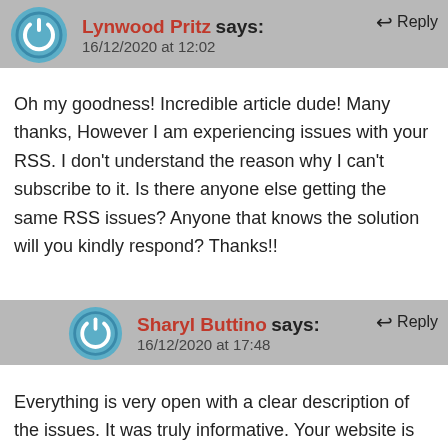Lynwood Pritz says:
16/12/2020 at 12:02
Oh my goodness! Incredible article dude! Many thanks, However I am experiencing issues with your RSS. I don't understand the reason why I can't subscribe to it. Is there anyone else getting the same RSS issues? Anyone that knows the solution will you kindly respond? Thanks!!
Sharyl Buttino says:
16/12/2020 at 17:48
Everything is very open with a clear description of the issues. It was truly informative. Your website is useful. Thanks for sharing!
Brad Owoc says: